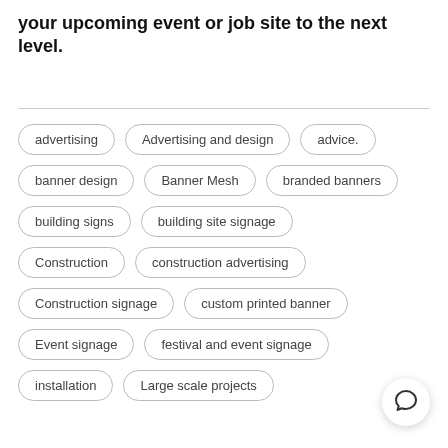your upcoming event or job site to the next level.
advertising
Advertising and design
advice.
banner design
Banner Mesh
branded banners
building signs
building site signage
Construction
construction advertising
Construction signage
custom printed banner
Event signage
festival and event signage
installation
Large scale projects